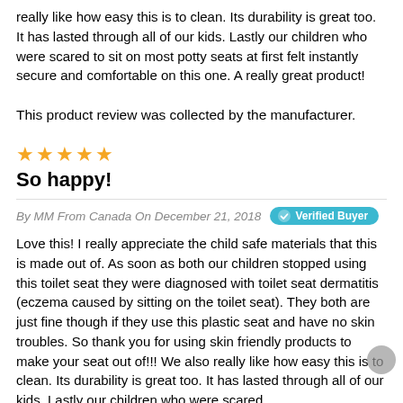really like how easy this is to clean. Its durability is great too. It has lasted through all of our kids. Lastly our children who were scared to sit on most potty seats at first felt instantly secure and comfortable on this one. A really great product!
This product review was collected by the manufacturer.
★★★★★
So happy!
By MM From Canada On December 21, 2018   Verified Buyer
Love this! I really appreciate the child safe materials that this is made out of. As soon as both our children stopped using this toilet seat they were diagnosed with toilet seat dermatitis (eczema caused by sitting on the toilet seat). They both are just fine though if they use this plastic seat and have no skin troubles. So thank you for using skin friendly products to make your seat out of!!! We also really like how easy this is to clean. Its durability is great too. It has lasted through all of our kids. Lastly our children who were scared